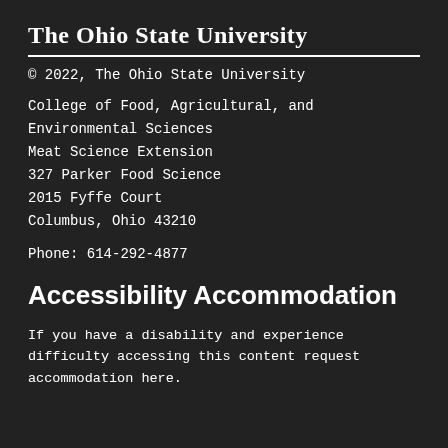The Ohio State University
© 2022, The Ohio State University
College of Food, Agricultural, and Environmental Sciences
Meat Science Extension
327 Parker Food Science
2015 Fyffe Court
Columbus, Ohio 43210
Phone: 614-292-4877
Accessibility Accommodation
If you have a disability and experience difficulty accessing this content request accommodation here.